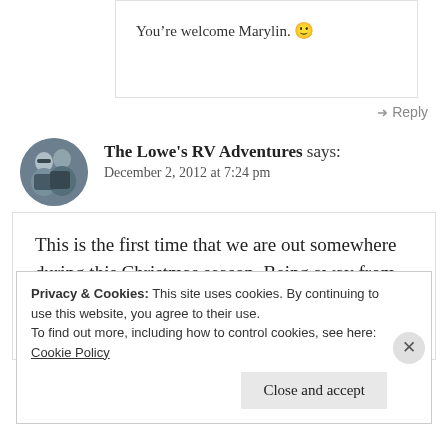You’re welcome Marylin. 🙂
→ Reply
The Lowe's RV Adventures says:
December 2, 2012 at 7:24 pm
This is the first time that we are out somewhere during this Christmas season. Being away from the rushing crowds and shopping frenzy is a blessing. At work we
Privacy & Cookies: This site uses cookies. By continuing to use this website, you agree to their use.
To find out more, including how to control cookies, see here: Cookie Policy
Close and accept